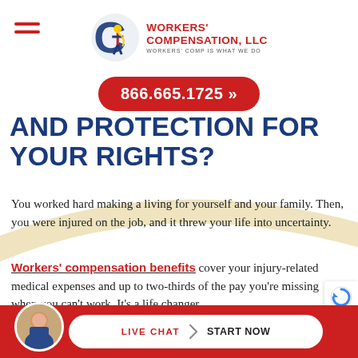[Figure (logo): Workers' Compensation LLC logo with superhero figure inside letter C, red and blue branding]
WORKERS' COMPENSATION, LLC
WORKERS' COMP IS WHAT WE DO
866.665.1725 »
AND PROTECTION FOR YOUR RIGHTS?
You worked hard making a living for yourself and your family. Then, you were injured on the job, and it threw your life into uncertainty.
Workers' compensation benefits cover your injury-related medical expenses and up to two-thirds of the pay you're missing when you can't work. It's a life changer.
LIVE CHAT  START NOW